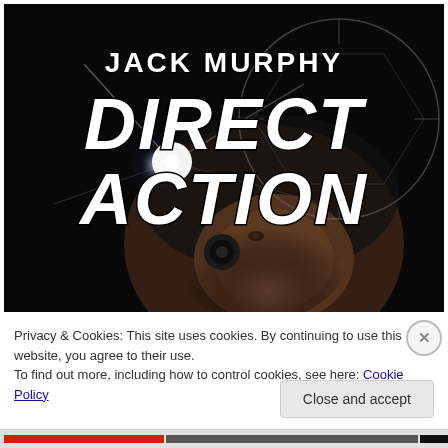[Figure (illustration): Book cover for 'Direct Action' by Jack Murphy. Dark military-themed cover showing a soldier's face with tactical gear and a bright light. Large distressed white text reads 'JACK MURPHY' above 'DIRECT ACTION'. A targeting reticle circle overlays the background.]
Privacy & Cookies: This site uses cookies. By continuing to use this website, you agree to their use.
To find out more, including how to control cookies, see here: Cookie Policy
Close and accept